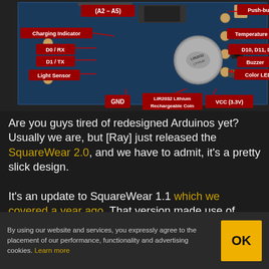[Figure (engineering-diagram): Arduino SquareWear 2.0 board diagram with labeled components: (A2–A5), Push-button, Charging Indicator, Temperature Sensor, D0/RX, D1/TX, D10 D11 D13, Buzzer, Light Sensor, Color LED, GND, LIR2032 Lithium Rechargeable Coin, VCC (3.3V)]
Are you guys tired of redesigned Arduinos yet? Usually we are, but [Ray] just released the SquareWear 2.0, and we have to admit, it's a pretty slick design.
It's an update to SquareWear 1.1 which we covered a year ago. That version made use of
By using our website and services, you expressly agree to the placement of our performance, functionality and advertising cookies. Learn more